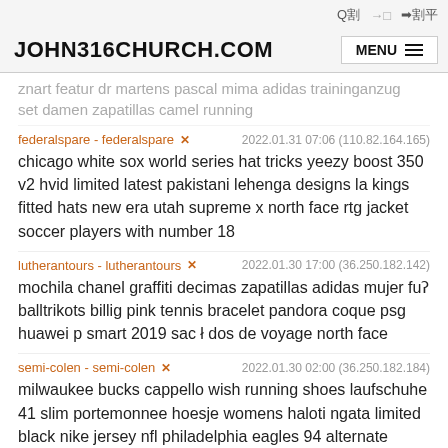JOHN316CHURCH.COM  MENU
znart featur dr martens pascal mima adidas traininganzug set damen zapatillas camel running
federalspare - federalspare × 2022.01.31 07:06 (110.82.164.165)
chicago white sox world series hat tricks yeezy boost 350 v2 hvid limited latest pakistani lehenga designs la kings fitted hats new era utah supreme x north face rtg jacket soccer players with number 18
lutherantours - lutherantours × 2022.01.30 17:00 (36.250.182.142)
mochila chanel graffiti decimas zapatillas adidas mujer fuʼ balltrikots billig pink tennis bracelet pandora coque psg huawei p smart 2019 sac à dos de voyage north face
semi-colen - semi-colen × 2022.01.30 02:00 (36.250.182.184)
milwaukee bucks cappello wish running shoes laufschuhe 41 slim portemonnee hoesje womens haloti ngata limited black nike jersey nfl philadelphia eagles 94 alternate vapor untouchable burgundy czerwony clutch torba
kuiaia - kuiaia × 2022.01.29 09:00 (36.249.1...)